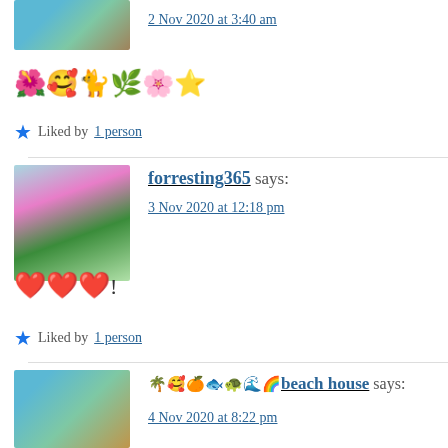[Figure (photo): Avatar image of a sea turtle swimming]
2 Nov 2020 at 3:40 am
🌺🥰🐈🌿🌸⭐
★ Liked by 1 person
[Figure (photo): Avatar image of a person with pink hair and green face, artistic portrait]
forresting365 says:
3 Nov 2020 at 12:18 pm
❤️🧡❤️!
★ Liked by 1 person
[Figure (photo): Avatar image of a sea turtle swimming]
🌴🥰🍊🐟🐢🌊🌈 beach house says:
4 Nov 2020 at 8:22 pm